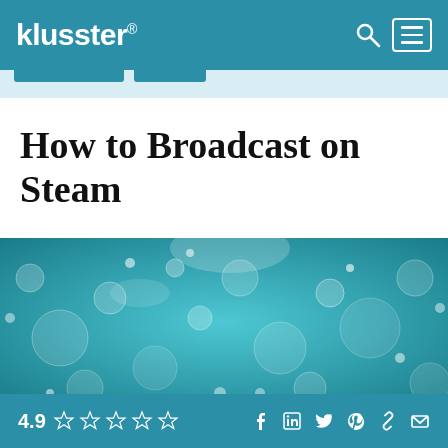klusster®
How to Broadcast on Steam
[Figure (photo): Underwater bubbles on a teal/turquoise background — macro photo of water bubbles and bokeh light effects]
4.9 ☆☆☆☆☆